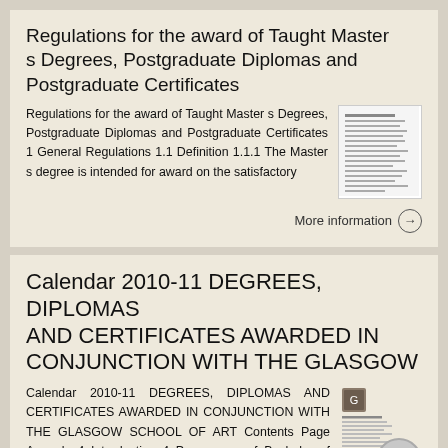Regulations for the award of Taught Masters Degrees, Postgraduate Diplomas and Postgraduate Certificates
Regulations for the award of Taught Masters Degrees, Postgraduate Diplomas and Postgraduate Certificates 1 General Regulations 1.1 Definition 1.1.1 The Masters degree is intended for award on the satisfactory
[Figure (other): Thumbnail image of a document page showing text lines]
More information →
Calendar 2010-11 DEGREES, DIPLOMAS AND CERTIFICATES AWARDED IN CONJUNCTION WITH THE GLASGOW
Calendar 2010-11 DEGREES, DIPLOMAS AND CERTIFICATES AWARDED IN CONJUNCTION WITH THE GLASGOW SCHOOL OF ART Contents Page Appeals 4 Introduction 4 Programme of Bachelor of Arts in Design...
[Figure (other): Thumbnail image of document with Glasgow School of Art logo and text lines]